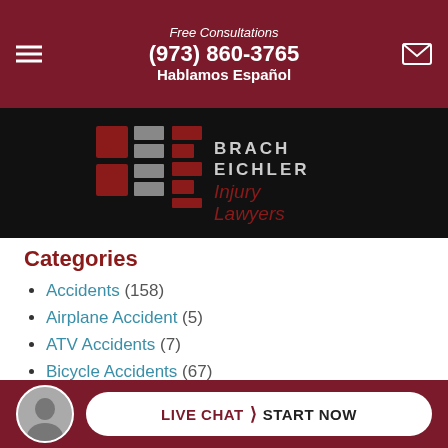Free Consultations (973) 860-3765 Hablamos Español
[Figure (logo): Brach Eichler Injury Lawyers logo on black background — stylized BE lettermark in red and gray squares, with text BRACH EICHLER Injury Lawyers]
Categories
Accidents (158)
Airplane Accident (5)
ATV Accidents (7)
Bicycle Accidents (67)
Boat Accidents (2)
Brach Eichler Injury Lawyers (20)
Bus Accidents (66)
Car Accidents (2,732)
LIVE CHAT > START NOW